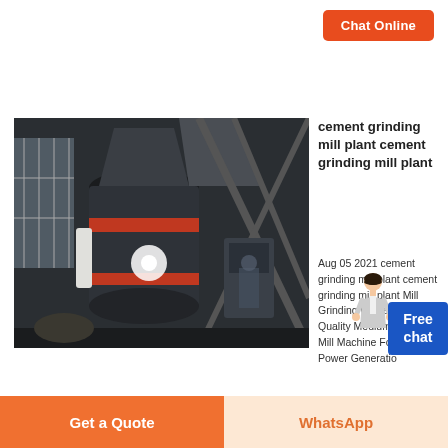Chat Online
[Figure (photo): Industrial cement grinding mill plant machinery in a factory setting, large vertical grinding equipment with metal framework and industrial components]
cement grinding mill plant cement grinding mill plant
Aug 05 2021 cement grinding mill plant cement grinding mill plant Mill Grinding Cement Plant Quality Medium Speed Mill Machine For Thermal Power Generatio
[Figure (illustration): Customer service representative figure (woman in business attire) next to a blue Free chat badge]
Chat Online
[Figure (photo): Interior of a cement mill factory showing large cylindrical mill equipment in an industrial building with steel framework]
Cement Mill Factory Custom Cement Mill OEM/ODM
Get a Quote
WhatsApp